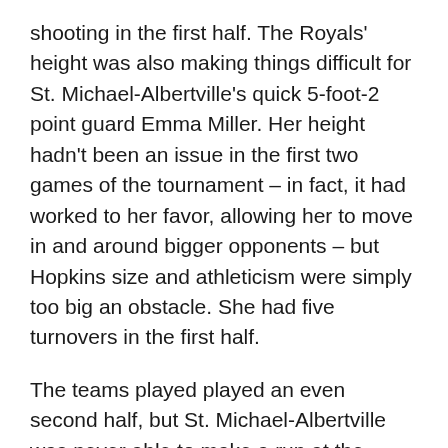shooting in the first half. The Royals' height was also making things difficult for St. Michael-Albertville's quick 5-foot-2 point guard Emma Miller. Her height hadn't been an issue in the first two games of the tournament – in fact, it had worked to her favor, allowing her to move in and around bigger opponents – but Hopkins size and athleticism were simply too big an obstacle. She had five turnovers in the first half.
The teams played played an even second half, but St. Michael-Albertville was never able to make a run at the Royals, who managed to expand the lead to as many at 24 before the Knights had a late offensive surge.
McGill finished with 25 points on 11 of 13 shooting from the floor and added four assists and four steals. Jordan Taylor Wood also to an account half a